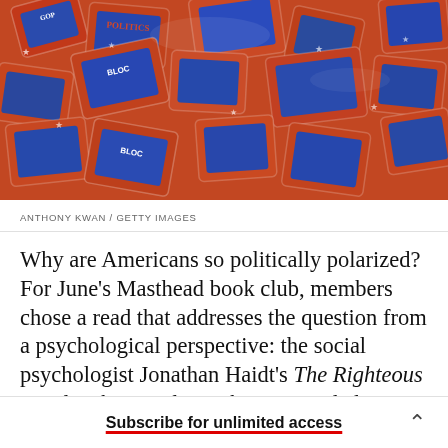[Figure (photo): A pile of individually wrapped red and blue candy pieces featuring Democratic donkey and Republican elephant political party symbols with stars]
ANTHONY KWAN / GETTY IMAGES
Why are Americans so politically polarized? For June's Masthead book club, members chose a read that addresses the question from a psychological perspective: the social psychologist Jonathan Haidt's The Righteous Mind: Why Good People Are Divided By Politics and Religion. (Haidt, by happy coincidence, is
Subscribe for unlimited access